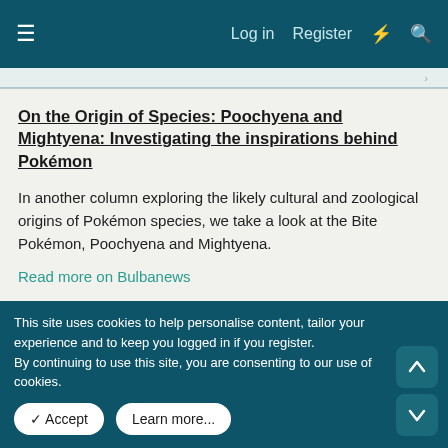Log in  Register
On the Origin of Species: Poochyena and Mightyena: Investigating the inspirations behind Pokémon
In another column exploring the likely cultural and zoological origins of Pokémon species, we take a look at the Bite Pokémon, Poochyena and Mightyena.
Read more on Bulbanews
Faye Scarlet
total eclipse of the heart
This site uses cookies to help personalise content, tailor your experience and to keep you logged in if you register.
By continuing to use this site, you are consenting to our use of cookies.
Accept  Learn more...